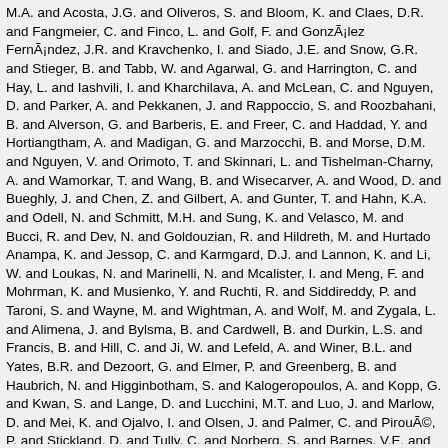M.A. and Acosta, J.G. and Oliveros, S. and Bloom, K. and Claes, D.R. and Fangmeier, C. and Finco, L. and Golf, F. and González Fernández, J.R. and Kravchenko, I. and Siado, J.E. and Snow, G.R. and Stieger, B. and Tabb, W. and Agarwal, G. and Harrington, C. and Hay, L. and Iashvili, I. and Kharchilava, A. and McLean, C. and Nguyen, D. and Parker, A. and Pekkanen, J. and Rappoccio, S. and Roozbahani, B. and Alverson, G. and Barberis, E. and Freer, C. and Haddad, Y. and Hortiangtham, A. and Madigan, G. and Marzocchi, B. and Morse, D.M. and Nguyen, V. and Orimoto, T. and Skinnari, L. and Tishelman-Charny, A. and Wamorkar, T. and Wang, B. and Wisecarver, A. and Wood, D. and Bueghly, J. and Chen, Z. and Gilbert, A. and Gunter, T. and Hahn, K.A. and Odell, N. and Schmitt, M.H. and Sung, K. and Velasco, M. and Bucci, R. and Dev, N. and Goldouzian, R. and Hildreth, M. and Hurtado Anampa, K. and Jessop, C. and Karmgard, D.J. and Lannon, K. and Li, W. and Loukas, N. and Marinelli, N. and Mcalister, I. and Meng, F. and Mohrman, K. and Musienko, Y. and Ruchti, R. and Siddireddy, P. and Taroni, S. and Wayne, M. and Wightman, A. and Wolf, M. and Zygala, L. and Alimena, J. and Bylsma, B. and Cardwell, B. and Durkin, L.S. and Francis, B. and Hill, C. and Ji, W. and Lefeld, A. and Winer, B.L. and Yates, B.R. and Dezoort, G. and Elmer, P. and Greenberg, B. and Haubrich, N. and Higginbotham, S. and Kalogeropoulos, A. and Kopp, G. and Kwan, S. and Lange, D. and Lucchini, M.T. and Luo, J. and Marlow, D. and Mei, K. and Ojalvo, I. and Olsen, J. and Palmer, C. and Pirouée, P. and Stickland, D. and Tully, C. and Norberg, S. and Barnes, V.E. and Chawla, R. and Das, S. and Gutay, L. and Jones, M. and Jung, A.W. and Mahakud, B. and Negro, G. and Neumeister, N. and Peng, C.C. and Piperov, S. and Qiu, H. and Schulte, J.F. and Trevisani, N. and Wang, F. and Xiao, R. and Xie, W. and Cheng, T. and Dolen, J. and Parashar, N. and Stojanovic, M. and Baty, A. and Dildick, S. and Ecklund, K.M. and Freed, S. and Geurts, F.J.M. and Kilpatrick, M. and Padley, B.P. and Redjimi, R. and Roberts, J. and Rorie, J. and Shi, W. and Stahl Leiton, A.G. and Tu, Z. and Zhang, A. and Bodek, A. and de Barbaro, P. and Demina, R. and Dulemba, J.L. and Fallon, C.